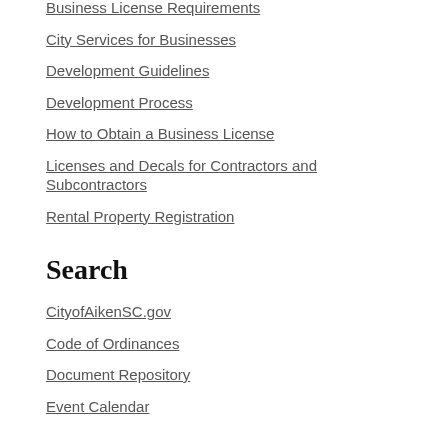Business License Requirements
City Services for Businesses
Development Guidelines
Development Process
How to Obtain a Business License
Licenses and Decals for Contractors and Subcontractors
Rental Property Registration
Search
CityofAikenSC.gov
Code of Ordinances
Document Repository
Event Calendar